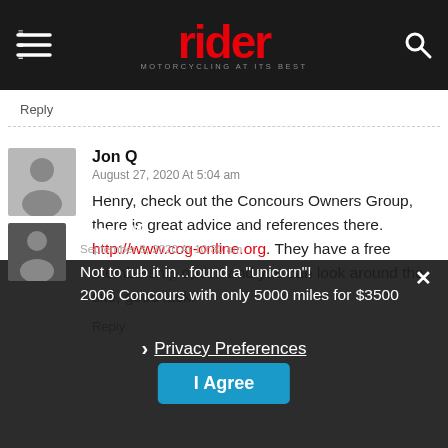rider — MOTORCYCLING AT ITS BEST
Reply
Jon Q
August 27, 2020 At 5:04 am
Henry, check out the Concours Owners Group, there is great advice and references there. http://www.cog-online.org. They have a free membership option and you can look around the site, good luck.
Reply
Derek M
September 8, 2020 At 10:30 am
Not to rub it in... found a "unicorn"! 2006 Concours with only 5000 miles for $3500
Privacy Preferences
I Agree